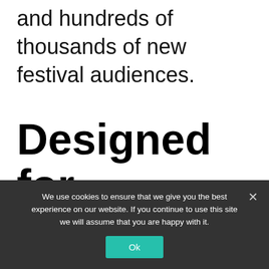and hundreds of thousands of new festival audiences.
Designed for Festivals and
We use cookies to ensure that we give you the best experience on our website. If you continue to use this site we will assume that you are happy with it.